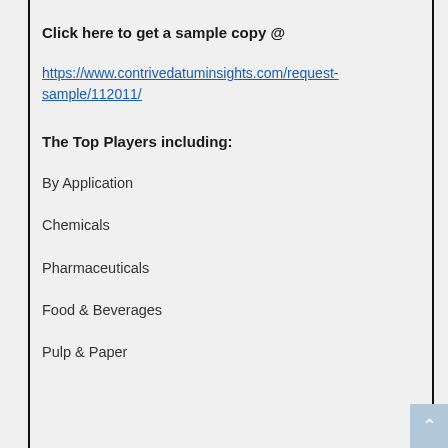Click here to get a sample copy @
https://www.contrivedatuminsights.com/request-sample/112011/
The Top Players including:
By Application
Chemicals
Pharmaceuticals
Food & Beverages
Pulp & Paper